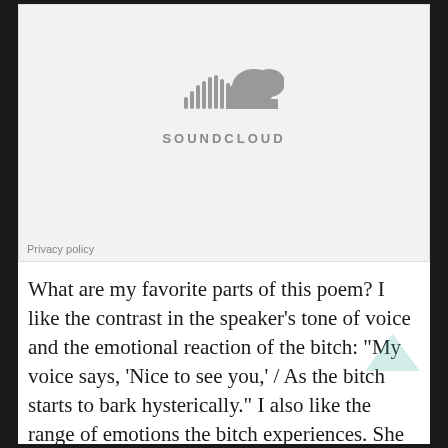[Figure (screenshot): SoundCloud embedded player widget with logo and Privacy policy link at bottom left, on a light gray background]
Privacy policy
What are my favorite parts of this poem? I like the contrast in the speaker’s tone of voice and the emotional reaction of the bitch: “My voice says, ‘Nice to see you,’ / As the bitch starts to bark hysterically.” I also like the range of emotions the bitch experiences. She first reacts to the ex aggressively, and the speaker has to remind her that “He isn’t an enemy